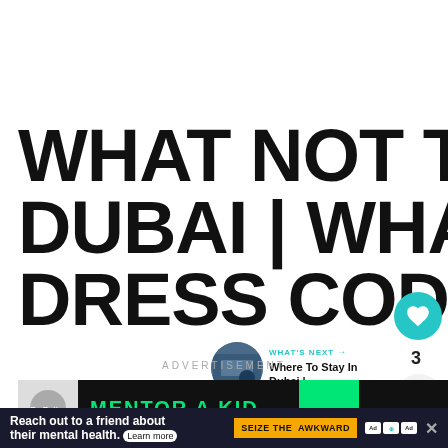WHAT NOT TO WEAR IN DUBAI | WHAT IS THE DRESS CODE IN DUBAI?
3
WHAT'S NEXT → Where To Stay In Dubai |...
ADVERTISEMENT
[Figure (screenshot): Advertisement banner showing 'MENTOR A KID' text in green on dark background with close button]
[Figure (screenshot): Bottom advertisement bar: 'Reach out to a friend about their mental health. Learn more' with 'SEIZE THE AWKWARD' button]